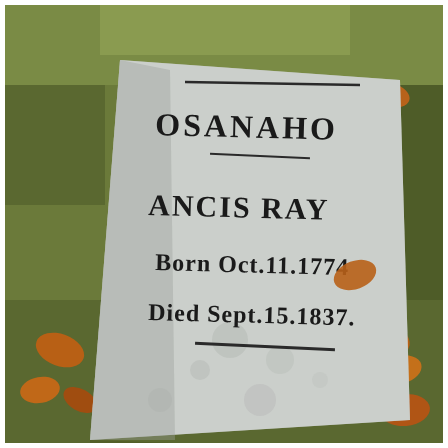[Figure (photo): A photograph of a fallen flat gravestone lying on grass with fallen leaves around it. The stone is partially obscured and weathered. Visible text on the stone reads: 'OSANAHO' (partially visible at top), 'ANCIS RAY' (partially visible, likely 'FRANCIS RAY'), 'Born Oct.11.1774', 'Died Sept.15.1837', with a horizontal decorative line beneath the dates.]